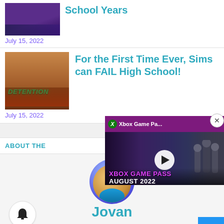School Years
July 15, 2022
[Figure (screenshot): Thumbnail image with purple/dark tones for School Years article]
For the First Time Ever, Sims can FAIL High School!
July 15, 2022
[Figure (screenshot): Detention classroom scene from The Sims with DETENTION text overlay]
ABOUT THE
[Figure (illustration): Sims avatar profile picture of Jovan, circular, with Sims diamond icon]
Jovan
[Figure (screenshot): Xbox Game Pass August 2022 video overlay with play button]